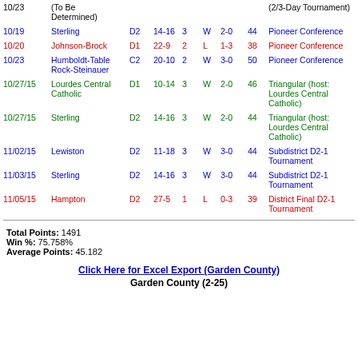| Date | Opponent | Class | Score | Sets | W/L | Record | Pts | Tournament |
| --- | --- | --- | --- | --- | --- | --- | --- | --- |
| 10/23 | (To Be Determined) |  |  |  |  |  |  | (2/3-Day Tournament) |
| 10/19 | Sterling | D2 | 14-16 | 3 | W | 2-0 | 44 | Pioneer Conference |
| 10/20 | Johnson-Brock | D1 | 22-9 | 2 | L | 1-3 | 38 | Pioneer Conference |
| 10/23 | Humboldt-Table Rock-Steinauer | C2 | 20-10 | 2 | W | 3-0 | 50 | Pioneer Conference |
| 10/27/15 | Lourdes Central Catholic | D1 | 10-14 | 3 | W | 2-0 | 46 | Triangular (host: Lourdes Central Catholic) |
| 10/27/15 | Sterling | D2 | 14-16 | 3 | W | 2-0 | 44 | Triangular (host: Lourdes Central Catholic) |
| 11/02/15 | Lewiston | D2 | 11-18 | 3 | W | 3-0 | 44 | Subdistrict D2-1 Tournament |
| 11/03/15 | Sterling | D2 | 14-16 | 3 | W | 3-0 | 44 | Subdistrict D2-1 Tournament |
| 11/05/15 | Hampton | D2 | 27-5 | 1 | L | 0-3 | 39 | District Final D2-1 Tournament |
Total Points: 1491
Win %: 75.758%
Average Points: 45.182
Click Here for Excel Export (Garden County)
Garden County (2-25)